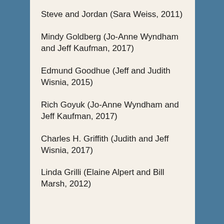Steve and Jordan (Sara Weiss, 2011)
Mindy Goldberg (Jo-Anne Wyndham and Jeff Kaufman, 2017)
Edmund Goodhue (Jeff and Judith Wisnia, 2015)
Rich Goyuk (Jo-Anne Wyndham and Jeff Kaufman, 2017)
Charles H. Griffith (Judith and Jeff Wisnia, 2017)
Linda Grilli (Elaine Alpert and Bill Marsh, 2012)